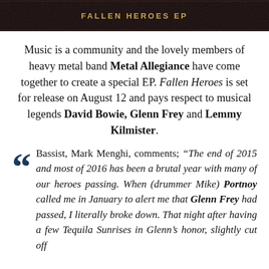[Figure (photo): Dark banner with text 'FALLEN HEROES EP' in gold/yellow letters on a dark background with ornate texture]
Music is a community and the lovely members of heavy metal band Metal Allegiance have come together to create a special EP. Fallen Heroes is set for release on August 12 and pays respect to musical legends David Bowie, Glenn Frey and Lemmy Kilmister.
Bassist, Mark Menghi, comments; "The end of 2015 and most of 2016 has been a brutal year with many of our heroes passing. When (drummer Mike) Portnoy called me in January to alert me that Glenn Frey had passed, I literally broke down. That night after having a few Tequila Sunrises in Glenn's honor, slightly cut off..."